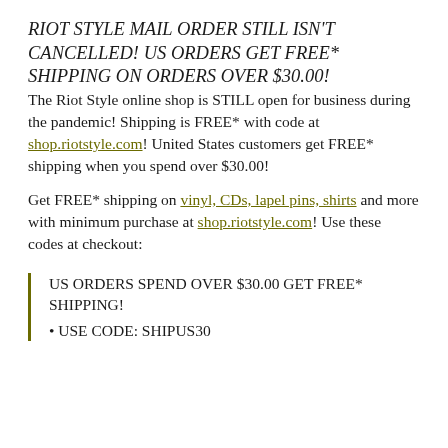RIOT STYLE MAIL ORDER STILL ISN'T CANCELLED! US ORDERS GET FREE* SHIPPING ON ORDERS OVER $30.00!
The Riot Style online shop is STILL open for business during the pandemic! Shipping is FREE* with code at shop.riotstyle.com! United States customers get FREE* shipping when you spend over $30.00!
Get FREE* shipping on vinyl, CDs, lapel pins, shirts and more with minimum purchase at shop.riotstyle.com! Use these codes at checkout:
US ORDERS SPEND OVER $30.00 GET FREE* SHIPPING!
• USE CODE: SHIPUS30